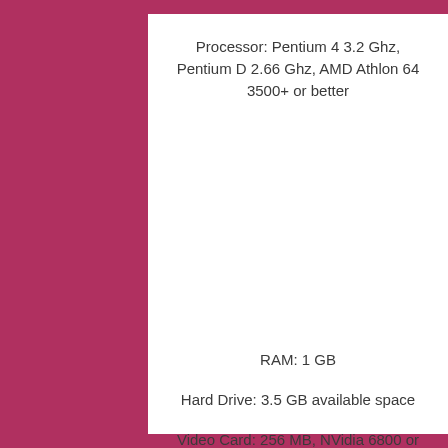Processor: Pentium 4 3.2 Ghz, Pentium D 2.66 Ghz, AMD Athlon 64 3500+ or better
RAM: 1 GB
Hard Drive: 3.5 GB available space
Video Card: 256 MB, NVidia 6800 or ATI X1650 or better